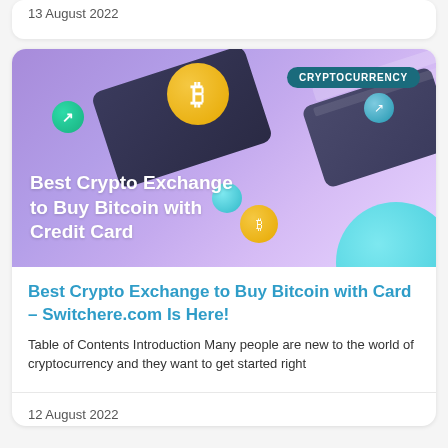13 August 2022
[Figure (illustration): Promotional banner image for a cryptocurrency article showing a purple gradient background with 3D rendered crypto coins (Bitcoin and others), credit cards, and spheres. Text overlay reads 'Best Crypto Exchange to Buy Bitcoin with Credit Card'. A teal badge in the top right reads 'CRYPTOCURRENCY'.]
Best Crypto Exchange to Buy Bitcoin with Card – Switchere.com Is Here!
Table of Contents Introduction Many people are new to the world of cryptocurrency and they want to get started right
12 August 2022